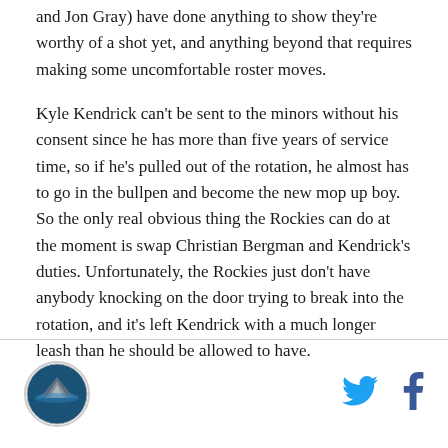and Jon Gray) have done anything to show they're worthy of a shot yet, and anything beyond that requires making some uncomfortable roster moves.
Kyle Kendrick can't be sent to the minors without his consent since he has more than five years of service time, so if he's pulled out of the rotation, he almost has to go in the bullpen and become the new mop up boy. So the only real obvious thing the Rockies can do at the moment is swap Christian Bergman and Kendrick's duties. Unfortunately, the Rockies just don't have anybody knocking on the door trying to break into the rotation, and it's left Kendrick with a much longer leash than he should be allowed to have.
[Figure (logo): Circular logo with mountain/landscape scene]